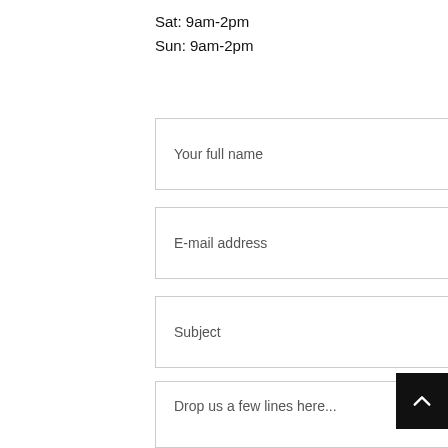Sat: 9am-2pm
Sun: 9am-2pm
Your full name
E-mail address
Subject
Drop us a few lines here...